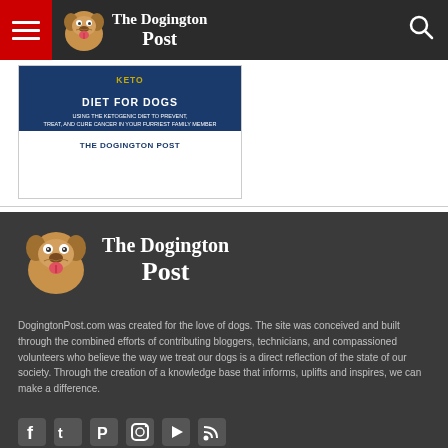The Dogington Post
[Figure (illustration): Book advertisement: Keto diet for dogs - 'Diet For Dogs - Using the Ketogenic Diet to Prevent, Treat, and Cure Cancer in Your Furriest Family Member - The Dogington Post']
[Figure (logo): The Dogington Post logo with bulldog puppy mascot in footer]
DogingtonPost.com was created for the love of dogs. The site was conceived and built through the combined efforts of contributing bloggers, technicians, and compassioned volunteers who believe the way we treat our dogs is a direct reflection of the state of our society. Through the creation of a knowledge base that informs, uplifts and inspires, we can make a difference.
[Figure (illustration): Social media icons row: Facebook, Twitter, Pinterest, Instagram, YouTube, RSS]